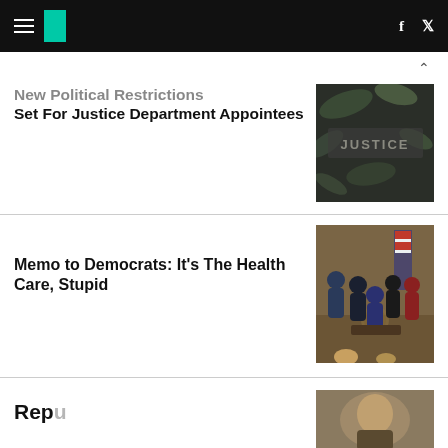HuffPost navigation with hamburger menu, logo, facebook and twitter icons
New Political Restrictions Set For Justice Department Appointees
[Figure (photo): Dark moody photo with leaves and the word JUSTICE embossed or stamped in stone]
Memo to Democrats: It’s The Health Care, Stupid
[Figure (photo): Group of people in formal attire gathered around a desk with presidential seal, signing ceremony]
Partially visible headline beginning with letters cut off at bottom of page